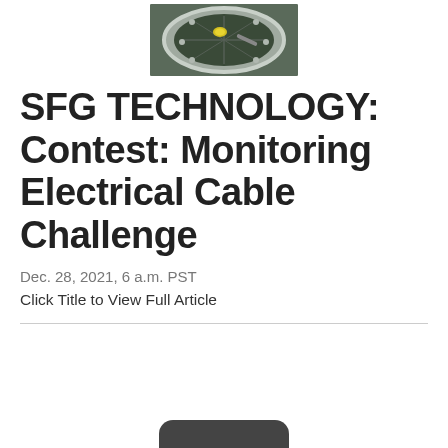[Figure (photo): Aerial or close-up photo of an electrical cable access point or manhole cover, showing cables inside a circular metal housing viewed from above, with a yellow element visible inside.]
SFG TECHNOLOGY: Contest: Monitoring Electrical Cable Challenge
Dec. 28, 2021, 6 a.m. PST
Click Title to View Full Article